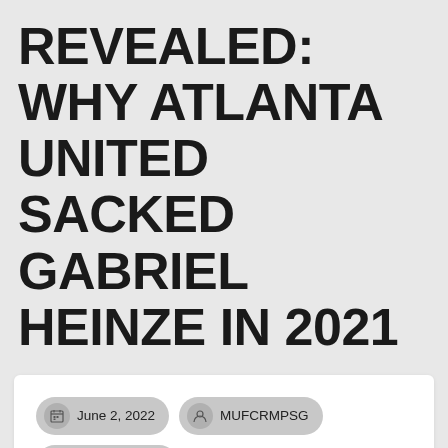REVEALED: WHY ATLANTA UNITED SACKED GABRIEL HEINZE IN 2021
June 2, 2022
MUFCRMPSG
Uncategorized
With 7:00 on the clock at Mercedes-Benz Stadium, the crowd